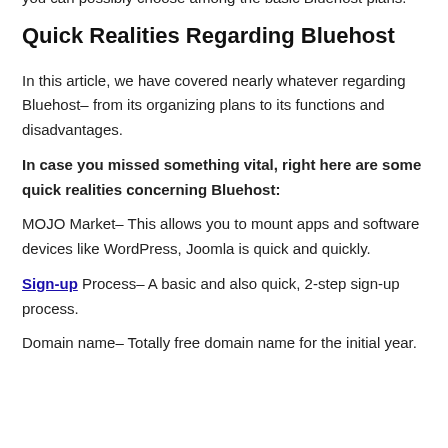if you're a blogger or running a basic on-line shop, after that you can possibly choose among the basic Bluehost plans.
Quick Realities Regarding Bluehost
In this article, we have covered nearly whatever regarding Bluehost– from its organizing plans to its functions and disadvantages.
In case you missed something vital, right here are some quick realities concerning Bluehost:
MOJO Market– This allows you to mount apps and software devices like WordPress, Joomla is quick and quickly.
Sign-up Process– A basic and also quick, 2-step sign-up process.
Domain name– Totally free domain name for the initial year.